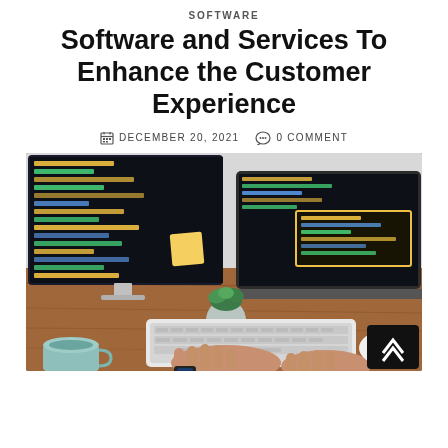SOFTWARE
Software and Services To Enhance the Customer Experience
DECEMBER 20, 2021   0 COMMENT
[Figure (photo): Person typing on a keyboard at a wooden desk with an iMac showing code on the left and a laptop showing code on the right, plus a small plant and coffee cup in the foreground]